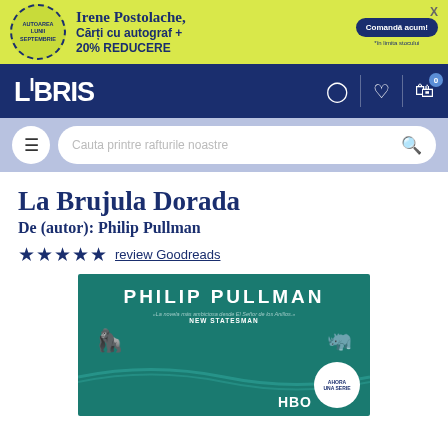[Figure (screenshot): Yellow promotional banner with circular badge reading 'AUTOAREA LUNII SEPTEMBRIE', text 'Irene Postolache, Cărți cu autograf + 20% REDUCERE', blue button 'Comandă acum!' and subtext '*în limita stocului']
[Figure (screenshot): Dark navy LIBRIS website navigation bar with logo and icons for user account, wishlist, and cart]
[Figure (screenshot): Light blue search bar area with hamburger menu button and search field 'Cauta printre rafturile noastre']
La Brujula Dorada
De (autor): Philip Pullman
★★★★★ review Goodreads
[Figure (photo): Book cover of La Brujula Dorada by Philip Pullman. Teal/green background with author name PHILIP PULLMAN in large white letters, quote from New Statesman, silhouettes of animals, and HBO series badge 'AHORA UNA SERIE']